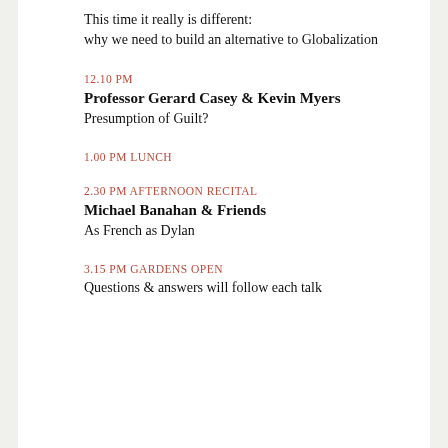This time it really is different:
why we need to build an alternative to Globalization
12.10 PM
Professor Gerard Casey & Kevin Myers
Presumption of Guilt?
1.00 PM LUNCH
2.30 PM AFTERNOON RECITAL
Michael Banahan & Friends
As French as Dylan
3.15 PM GARDENS OPEN
Questions & answers will follow each talk